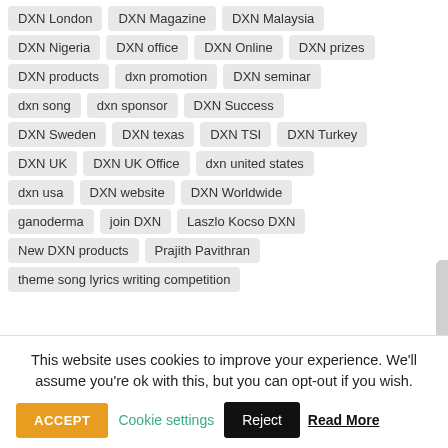DXN London
DXN Magazine
DXN Malaysia
DXN Nigeria
DXN office
DXN Online
DXN prizes
DXN products
dxn promotion
DXN seminar
dxn song
dxn sponsor
DXN Success
DXN Sweden
DXN texas
DXN TSI
DXN Turkey
DXN UK
DXN UK Office
dxn united states
dxn usa
DXN website
DXN Worldwide
ganoderma
join DXN
Laszlo Kocso DXN
New DXN products
Prajith Pavithran
theme song lyrics writing competition
cordyceps
This website uses cookies to improve your experience. We'll assume you're ok with this, but you can opt-out if you wish.